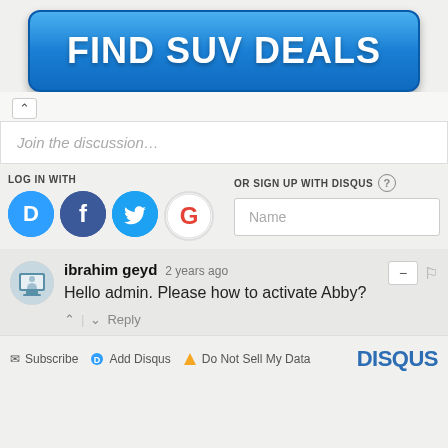[Figure (other): Blue button banner with text FIND SUV DEALS]
Join the discussion…
LOG IN WITH
OR SIGN UP WITH DISQUS
[Figure (other): Social login icons: Disqus (D), Facebook (f), Twitter bird, Google (G)]
Name
ibrahim geyd
2 years ago
Hello admin. Please how to activate Abby?
Reply
Subscribe  Add Disqus  Do Not Sell My Data   DISQUS